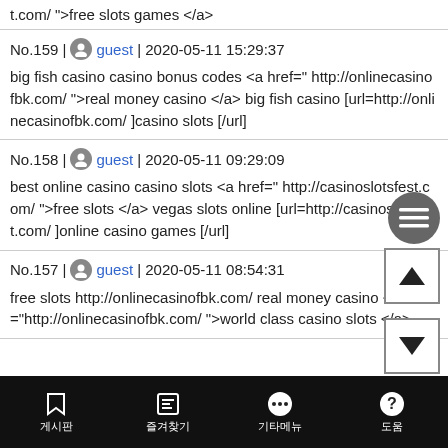t.com/ ">free slots games </a>
No.159 | guest | 2020-05-11 15:29:37
big fish casino casino bonus codes <a href=" http://onlinecasinofbk.com/ ">real money casino </a> big fish casino [url=http://onlinecasinofbk.com/ ]casino slots [/url]
No.158 | guest | 2020-05-11 09:29:09
best online casino casino slots <a href=" http://casinoslotsfest.com/ ">free slots </a> vegas slots online [url=http://casinoslotsfest.com/ ]online casino games [/url]
No.157 | guest | 2020-05-11 08:54:31
free slots http://onlinecasinofbk.com/ real money casino <a href="http://onlinecasinofbk.com/ ">world class casino slots </a>
게시판  즐겨찾기  기타메뉴  도움